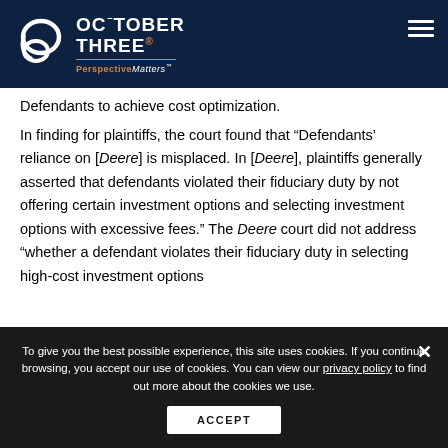[Figure (logo): October Three logo with stylized icon and tagline 'PerspectiveMatters']
Defendants to achieve cost optimization.
In finding for plaintiffs, the court found that “Defendants’ reliance on [Deere] is misplaced. In [Deere], plaintiffs generally asserted that defendants violated their fiduciary duty by not offering certain investment options and selecting investment options with excessive fees.” The Deere court did not address “whether a defendant violates their fiduciary duty in selecting high-cost investment options
To give you the best possible experience, this site uses cookies. If you continue browsing, you accept our use of cookies. You can view our privacy policy to find out more about the cookies we use.